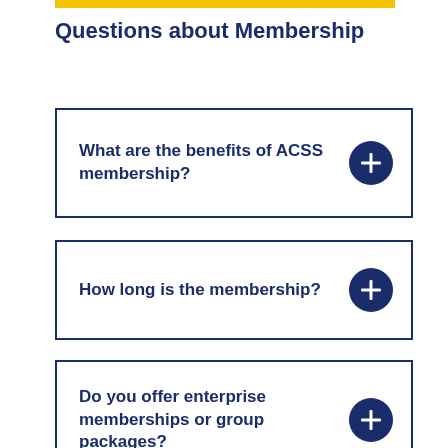Questions about Membership
What are the benefits of ACSS membership?
How long is the membership?
Do you offer enterprise memberships or group packages?